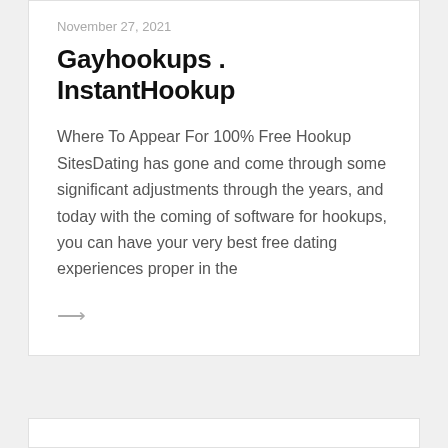November 27, 2021
Gayhookups . InstantHookup
Where To Appear For 100% Free Hookup SitesDating has gone and come through some significant adjustments through the years, and today with the coming of software for hookups, you can have your very best free dating experiences proper in the
→